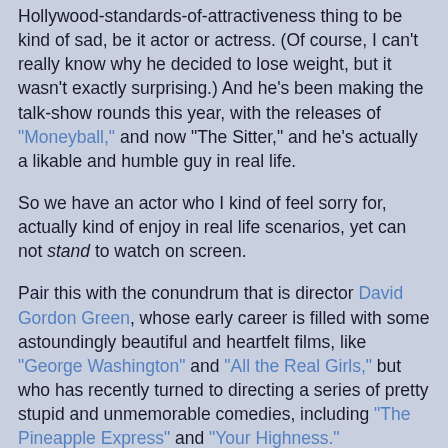Hollywood-standards-of-attractiveness thing to be kind of sad, be it actor or actress. (Of course, I can't really know why he decided to lose weight, but it wasn't exactly surprising.) And he's been making the talk-show rounds this year, with the releases of "Moneyball," and now "The Sitter," and he's actually a likable and humble guy in real life.
So we have an actor who I kind of feel sorry for, actually kind of enjoy in real life scenarios, yet can not stand to watch on screen.
Pair this with the conundrum that is director David Gordon Green, whose early career is filled with some astoundingly beautiful and heartfelt films, like "George Washington" and "All the Real Girls," but who has recently turned to directing a series of pretty stupid and unmemorable comedies, including "The Pineapple Express" and "Your Highness."